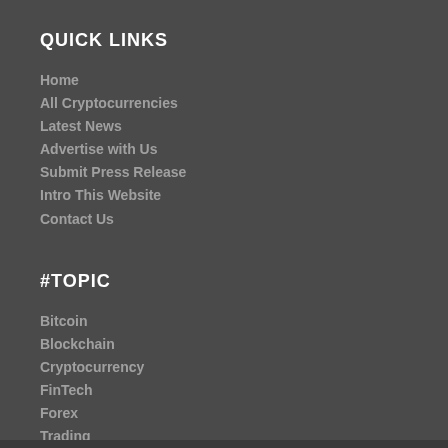QUICK LINKS
Home
All Cryptocurrencies
Latest News
Advertise with Us
Submit Press Release
Intro This Website
Contact Us
#TOPIC
Bitcoin
Blockchain
Cryptocurrency
FinTech
Forex
Trading